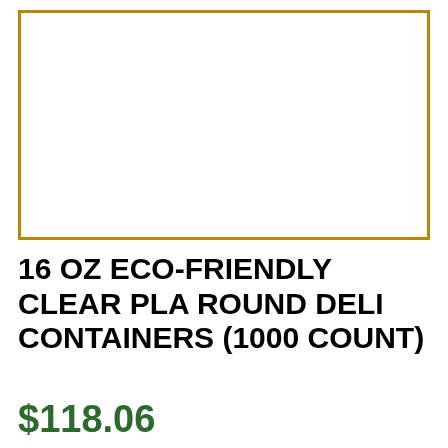[Figure (other): White rectangle with gold/dark-yellow border, serving as a product image placeholder]
16 OZ ECO-FRIENDLY CLEAR PLA ROUND DELI CONTAINERS (1000 COUNT)
$118.06